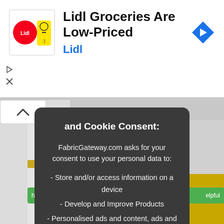[Figure (screenshot): Advertisement banner for Lidl Groceries featuring Lidl logo, text 'Lidl Groceries Are Low-Priced', brand name 'Lidl' in blue, and a blue navigation arrow icon on the right. Ad control icons (play and close) on the left.]
and Cookie Consent:
FabricGateway.com asks for your consent to use your personal data to:
- Store and/or access information on a device
- Develop and Improve Products
- Personalised ads and content, ads and content measurement, and audience insights
In order to provide a more personal user experience, we and our partners use technology such as cookies to store and/or access device information.